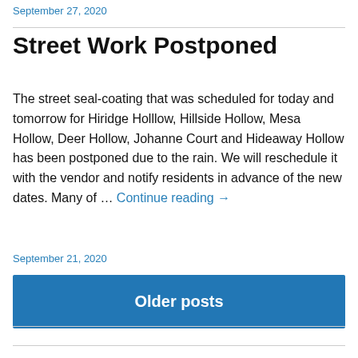September 27, 2020
Street Work Postponed
The street seal-coating that was scheduled for today and tomorrow for Hiridge Holllow, Hillside Hollow, Mesa Hollow, Deer Hollow, Johanne Court and Hideaway Hollow has been postponed due to the rain. We will reschedule it with the vendor and notify residents in advance of the new dates. Many of … Continue reading →
September 21, 2020
Older posts